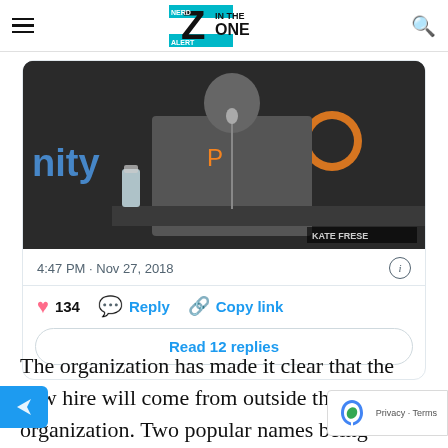In The Zone
[Figure (screenshot): Embedded tweet card showing a Philadelphia Flyers press conference photo (person in Flyers shirt sitting at a table with a water bottle, Flyers logos visible in background, photo credit: Kate Frese). Tweet timestamp: 4:47 PM · Nov 27, 2018. Actions: 134 likes, Reply, Copy link. Read 12 replies button.]
The organization has made it clear that the new hire will come from outside the organization. Two popular names being thrown around include Dean Lombardi and even Chris Pronger. However, it's been confirmed that neither are on the shortlist of candidates.